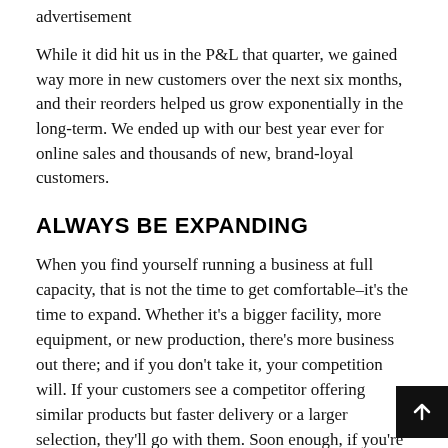advertisement
While it did hit us in the P&L that quarter, we gained way more in new customers over the next six months, and their reorders helped us grow exponentially in the long-term. We ended up with our best year ever for online sales and thousands of new, brand-loyal customers.
ALWAYS BE EXPANDING
When you find yourself running a business at full capacity, that is not the time to get comfortable–it's the time to expand. Whether it's a bigger facility, more equipment, or new production, there's more business out there; and if you don't take it, your competition will. If your customers see a competitor offering similar products but faster delivery or a larger selection, they'll go with them. Soon enough, if you're not willing to expand capacity, your customer base or offerings will likely contract.